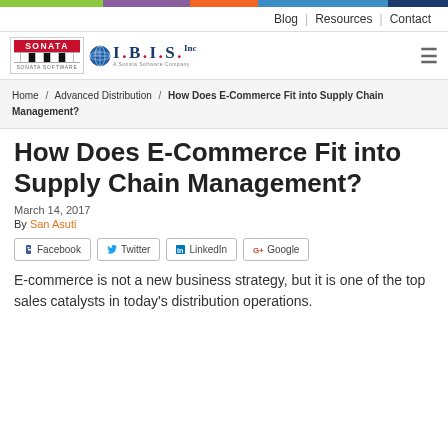Blog | Resources | Contact
[Figure (logo): Sonata Software and I.B.I.S. Inc. logos]
Home / Advanced Distribution / How Does E-Commerce Fit into Supply Chain Management?
How Does E-Commerce Fit into Supply Chain Management?
March 14, 2017
By San Asuti
[Figure (infographic): Social share buttons: Facebook, Twitter, LinkedIn, Google]
E-commerce is not a new business strategy, but it is one of the top sales catalysts in today's distribution operations.